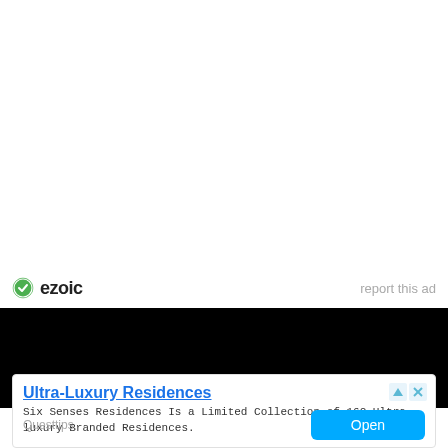[Figure (logo): Ezoic logo with green checkmark circle icon and bold 'ezoic' text]
report this ad
[Figure (other): Black background section (advertisement placeholder)]
[Figure (other): Advertisement card: Ultra-Luxury Residences by Questtips with Open button]
Ultra-Luxury Residences
Six Senses Residences Is a Limited Collection of 162 Ultra-luxury Branded Residences.
Questtips
Open